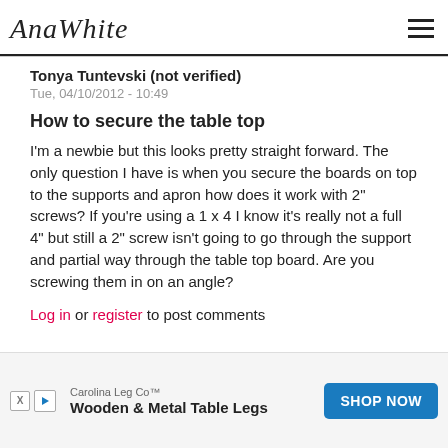AnaWhite
Tonya Tuntevski (not verified)
Tue, 04/10/2012 - 10:49
How to secure the table top
I'm a newbie but this looks pretty straight forward. The only question I have is when you secure the boards on top to the supports and apron how does it work with 2" screws? If you're using a 1 x 4 I know it's really not a full 4" but still a 2" screw isn't going to go through the support and partial way through the table top board. Are you screwing them in on an angle?
Log in or register to post comments
[Figure (other): Advertisement banner: Carolina Leg Co™ — Wooden & Metal Table Legs — SHOP NOW button]